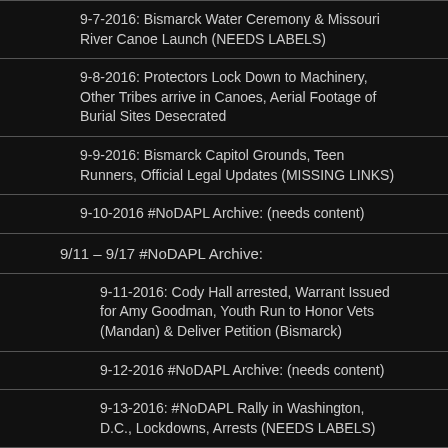9-7-2016: Bismarck Water Ceremony & Missouri River Canoe Launch (NEEDS LABELS)
9-8-2016: Protectors Lock Down to Machinery, Other Tribes arrive in Canoes, Aerial Footage of Burial Sites Desecrated
9-9-2016: Bismarck Capitol Grounds, Teen Runners, Official Legal Updates (MISSING LINKS)
9-10-2016 #NoDAPL Archive: (needs content)
9/11 – 9/17 #NoDAPL Archive:
9-11-2016: Cody Hall arrested, Warrant Issued for Amy Goodman, Youth Run to Honor Vets (Mandan) & Deliver Petition (Bismarck)
9-12-2016 #NoDAPL Archive: (needs content)
9-13-2016: #NoDAPL Rally in Washington, D.C., Lockdowns, Arrests (NEEDS LABELS)
9-14-2016: Three Locked to Equipment, Unicorn Riot Arrested